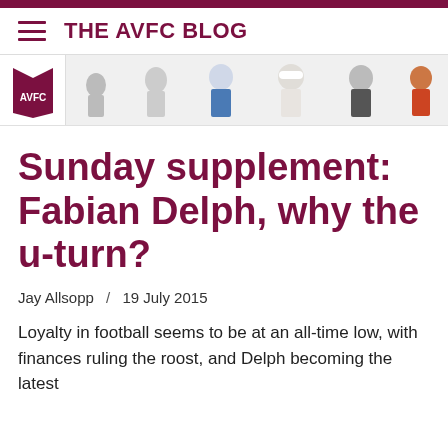THE AVFC BLOG
[Figure (photo): Sports blog banner showing Aston Villa FC logo on the left and several football player silhouettes/photos on a light grey background]
Sunday supplement: Fabian Delph, why the u-turn?
Jay Allsopp  /  19 July 2015
Loyalty in football seems to be at an all-time low, with finances ruling the roost, and Delph becoming the latest